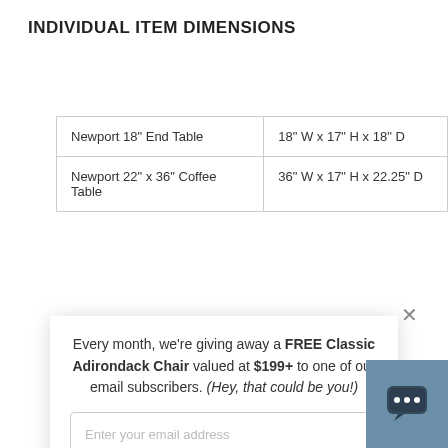INDIVIDUAL ITEM DIMENSIONS
| Newport 18" End Table | 18" W x 17" H x 18" D |
| Newport 22" x 36" Coffee Table | 36" W x 17" H x 22.25" D |
Every month, we're giving away a FREE Classic Adirondack Chair valued at $199+ to one of our email subscribers. (Hey, that could be you!)
Enter your email address
SIGN ME UP!
One (1) winner will be selected at random at the end of each month and contacted by email. U.S. entrants only.